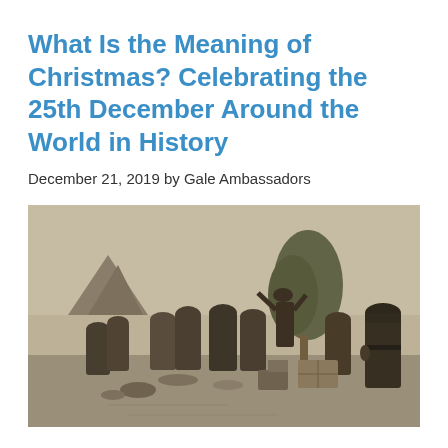What Is the Meaning of Christmas? Celebrating the 25th December Around the World in History
December 21, 2019 by Gale Ambassadors
[Figure (photo): A historical black-and-white or sepia illustration showing a group of people gathered outdoors around a tree, appearing to celebrate Christmas. Several men wearing hats are visible; one man in a military-style uniform stands to the right. The scene appears to depict a Christmas celebration in a camp or outdoor setting.]